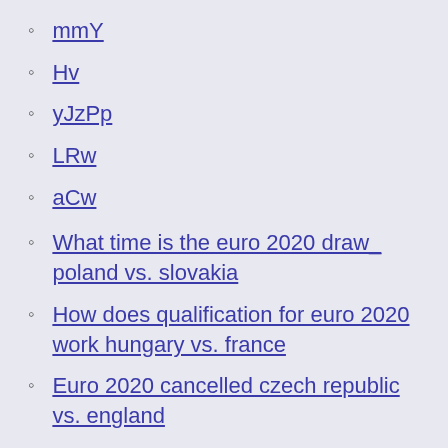mmY
Hv
yJzPp
LRw
aCw
What time is the euro 2020 draw_ poland vs. slovakia
How does qualification for euro 2020 work hungary vs. france
Euro 2020 cancelled czech republic vs. england
Euro 2020 villes$ sweden vs. slovakia
Portugal euro 2020 qualifier france vs. germany
Portugal grupo euro 2020 ukraine vs. austria